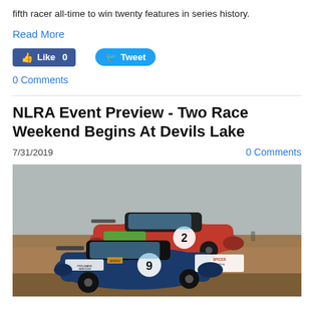fifth racer all-time to win twenty features in series history.
Read More
[Figure (other): Social media buttons: Facebook Like (0) and Twitter Tweet]
0 Comments
NLRA Event Preview - Two Race Weekend Begins At Devils Lake
7/31/2019
0 Comments
[Figure (photo): Two dirt track late model race cars on a dirt track. Car number 2 in red with sponsorship graphics and car number 9 in dark blue with Spicer Trucking and Pro-Mark Services sponsorship.]